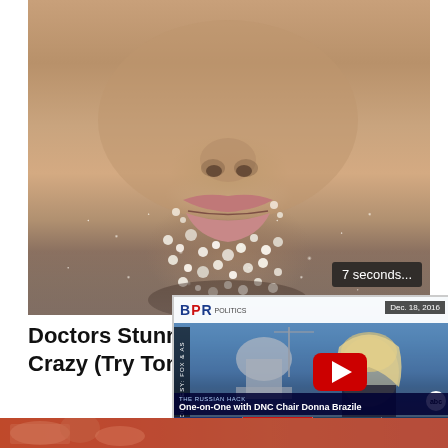[Figure (photo): Close-up photo of a person's lower face (nose, lips, chin) covered in sugar crystals or salt granules, giving a textured, crystalline appearance on skin]
7 seconds...
Doctors Stunned... Crazy (Try Tonig...
[Figure (screenshot): Thumbnail of a BPR Politics YouTube video dated Dec. 18, 2016 showing a blonde woman in front of the US Capitol. Lower bar reads 'THE RUSSIAN HACK' and 'One-on-One with DNC Chair Donna Brazile'. YouTube play button visible. ABC logo in corner. Ticker segments at bottom.]
[Figure (photo): Bottom strip showing partial image, reddish-orange tones, appears to be fingers or skin]